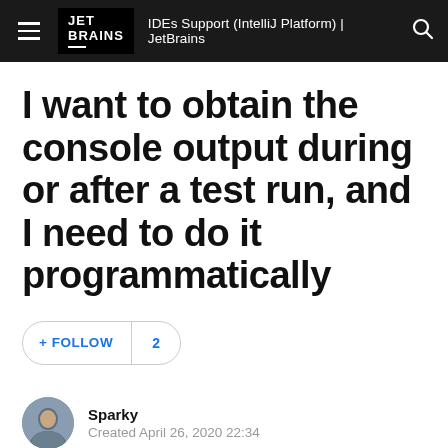IDEs Support (IntelliJ Platform) | JetBrains
I want to obtain the console output during or after a test run, and I need to do it programmatically
+ FOLLOW  2
Sparky
Created April 26, 2020 22:34